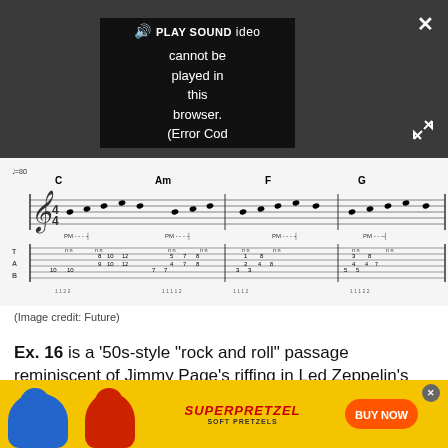[Figure (screenshot): Video player overlay showing 'PLAY SOUND' button and 'Video cannot be played in this browser. (Error Cod' message on dark background with close (X) button and expand arrows button]
[Figure (illustration): Guitar tablature and sheet music notation showing a musical passage with chord symbols C, Am, F, G, PM (palm mute) markings, and tab numbers for a '50s-style rock and roll passage]
(Image credit: Future)
Ex. 16 is a '50s-style “rock and roll” passage reminiscent of Jimmy Page’s riffing in Led Zeppelin’s
[Figure (photo): SuperPretzel Soft Pretzels advertisement banner in yellow with cartoon characters and BUY NOW button]